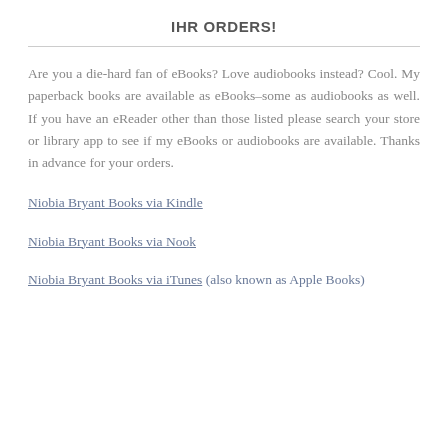IHR ORDERS!
Are you a die-hard fan of eBooks? Love audiobooks instead? Cool. My paperback books are available as eBooks–some as audiobooks as well. If you have an eReader other than those listed please search your store or library app to see if my eBooks or audiobooks are available. Thanks in advance for your orders.
Niobia Bryant Books via Kindle
Niobia Bryant Books via Nook
Niobia Bryant Books via iTunes (also known as Apple Books)